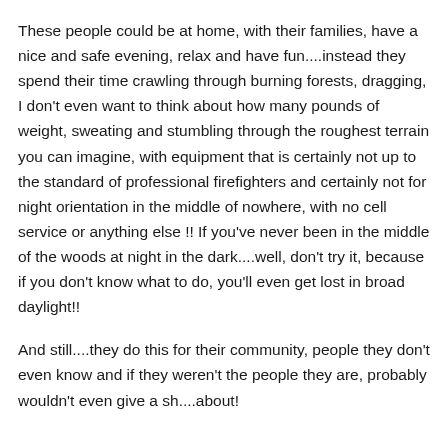These people could be at home, with their families, have a nice and safe evening, relax and have fun....instead they spend their time crawling through burning forests, dragging, I don't even want to think about how many pounds of weight, sweating and stumbling through the roughest terrain you can imagine, with equipment that is certainly not up to the standard of professional firefighters and certainly not for night orientation in the middle of nowhere, with no cell service or anything else !! If you've never been in the middle of the woods at night in the dark....well, don't try it, because if you don't know what to do, you'll even get lost in broad daylight!!
And still....they do this for their community, people they don't even know and if they weren't the people they are, probably wouldn't even give a sh....about!